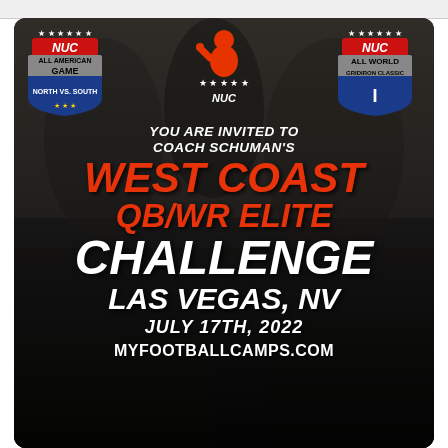[Figure (infographic): NUC football camp promotional flyer. Background shows football players at a camp. Logos for NUC All American Game (left) and NUC All World Gridiron Classic (right) appear at top with central NUC logo. Text reads: YOU ARE INVITED TO COACH SCHUMAN'S WEST COAST QB/WR ELITE CHALLENGE LAS VEGAS, NV JULY 17TH, 2022 MYFOOTBALLCAMPS.COM]